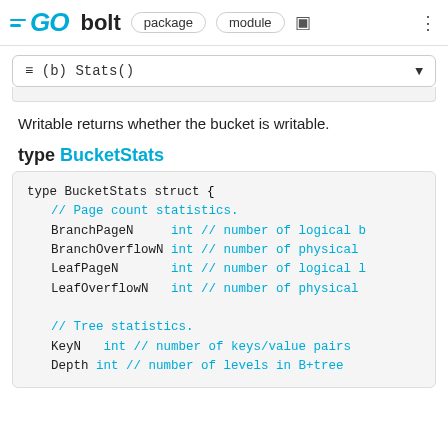GO bolt  package  module
≡ (b) Stats()
Writable returns whether the bucket is writable.
type BucketStats
type BucketStats struct {
    // Page count statistics.
    BranchPageN    int // number of logical b
    BranchOverflowN int // number of physical 
    LeafPageN      int // number of logical l
    LeafOverflowN  int // number of physical 

    // Tree statistics.
    KeyN  int // number of keys/value pairs
    Depth int // number of levels in B+tree
}